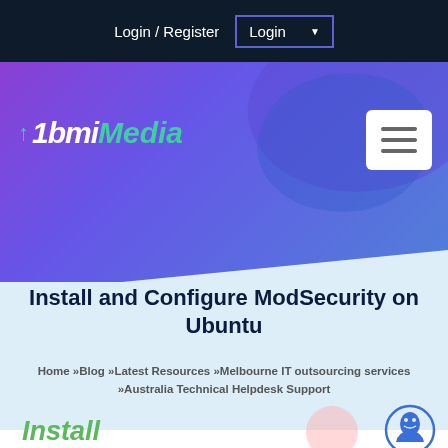Login / Register   Login ▼
[Figure (logo): 1bmi Media logo with teal arrow icon, white bold italic '1bmi' and teal italic 'Media' text on purple background]
Install and Configure ModSecurity on Ubuntu
Home »Blog »Latest Resources »Melbourne IT outsourcing services »Australia Technical Helpdesk Support
Install ModSecurity